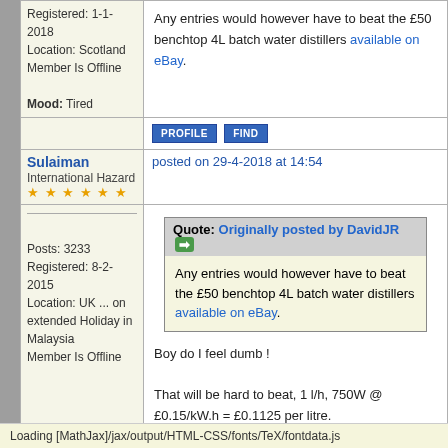Registered: 1-1-2018
Location: Scotland
Member Is Offline
Mood: Tired
Any entries would however have to beat the £50 benchtop 4L batch water distillers available on eBay.
PROFILE  FIND
Sulaiman
International Hazard
★★★★★★
posted on 29-4-2018 at 14:54
Posts: 3233
Registered: 8-2-2015
Location: UK ... on extended Holiday in Malaysia
Member Is Offline
Quote: Originally posted by DavidJR
Any entries would however have to beat the £50 benchtop 4L batch water distillers available on eBay.
Boy do I feel dumb !

That will be hard to beat, 1 l/h, 750W @ £0.15/kW.h = £0.1125 per litre.
payback after 107 litres, ready made and always available.
However,
I'm not keen on the cut-out-after-boiled-dry
Loading [MathJax]/jax/output/HTML-CSS/fonts/TeX/fontdata.js